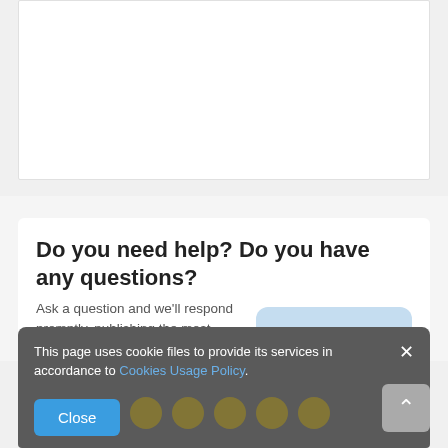[Figure (screenshot): Top white card area, empty content region]
Do you need help? Do you have any questions?
Ask a question and we'll respond promptly, publishing the most interesting questions and answers for others.
[Figure (screenshot): Blue rounded button labeled 'Ask a question']
This page uses cookie files to provide its services in accordance to Cookies Usage Policy.
[Figure (screenshot): Cookie consent banner with Close button and social icons at bottom]